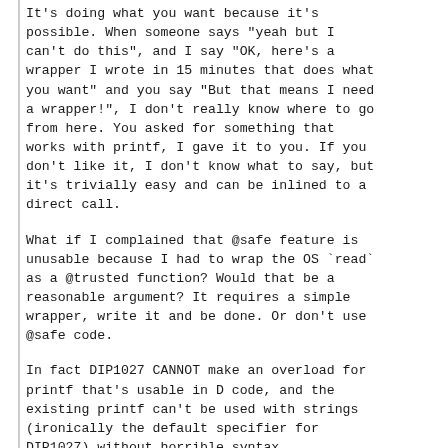It's doing what you want because it's possible. When someone says "yeah but I can't do this", and I say "OK, here's a wrapper I wrote in 15 minutes that does what you want" and you say "But that means I need a wrapper!", I don't really know where to go from here. You asked for something that works with printf, I gave it to you. If you don't like it, I don't know what to say, but it's trivially easy and can be inlined to a direct call.
What if I complained that @safe feature is unusable because I had to wrap the OS `read` as a @trusted function? Would that be a reasonable argument? It requires a simple wrapper, write it and be done. Or don't use @safe code.
In fact DIP1027 CANNOT make an overload for printf that's usable in D code, and the existing printf can't be used with strings (ironically the default specifier for DIP1027) without horrible syntax.
If you want to use printf without a wrapper, use printf as it was intended. If you want